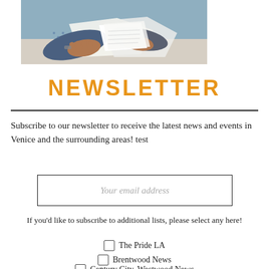[Figure (photo): Close-up photo of hands holding and flipping through pages of a document or book, shot from above on a light background.]
NEWSLETTER
Subscribe to our newsletter to receive the latest news and events in Venice and the surrounding areas! test
Your email address
If you'd like to subscribe to additional lists, please select any here!
The Pride LA
Brentwood News
Century City, Westwood News